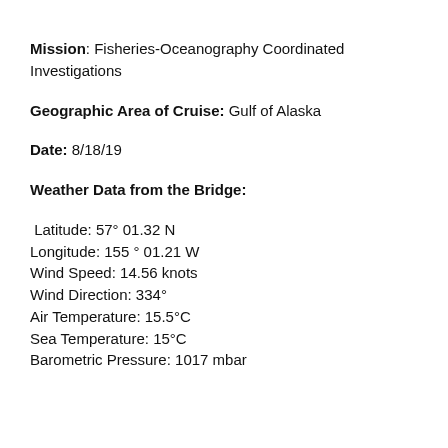Mission: Fisheries-Oceanography Coordinated Investigations
Geographic Area of Cruise: Gulf of Alaska
Date: 8/18/19
Weather Data from the Bridge:
Latitude: 57° 01.32 N
Longitude: 155 ° 01.21 W
Wind Speed: 14.56 knots
Wind Direction: 334°
Air Temperature: 15.5°C
Sea Temperature: 15°C
Barometric Pressure: 1017 mbar